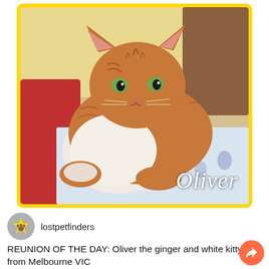[Figure (photo): Photo of an orange and white tabby cat named Oliver, lying on a blue and white patterned blanket/bedding. The cat has green eyes and is looking toward the camera. The photo has a yellow border and the name 'Oliver' appears in white italic script in the bottom right corner.]
lostpetfinders
REUNION OF THE DAY: Oliver the ginger and white kitty from Melbourne VIC
"I would like to thank everyone who shared and offered their well wishes for Oliver. We have been so worried about him, being 16 years old and never a wanderer we